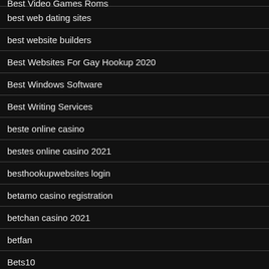Best Video Games Roms
best web dating sites
best website builders
Best Websites For Gay Hookup 2020
Best Windows Software
Best Writing Services
beste online casino
bestes online casino 2021
besthookupwebsites login
betamo casino registration
betchan casino 2021
betfan
Bets10